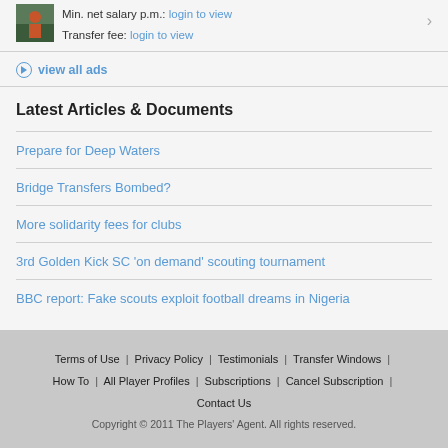Min. net salary p.m.: login to view
Transfer fee: login to view
view all ads
Latest Articles & Documents
Prepare for Deep Waters
Bridge Transfers Bombed?
More solidarity fees for clubs
3rd Golden Kick SC 'on demand' scouting tournament
BBC report: Fake scouts exploit football dreams in Nigeria
Terms of Use | Privacy Policy | Testimonials | Transfer Windows | How To | All Player Profiles | Subscriptions | Cancel Subscription | Contact Us
Copyright © 2011 The Players' Agent. All rights reserved.